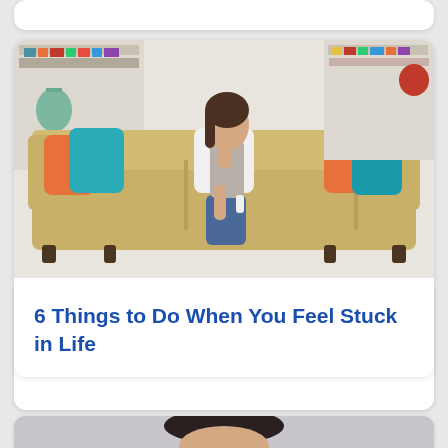[Figure (photo): Partial white card visible at top of page]
[Figure (photo): Woman sitting on a beige sofa surrounded by colorful orange, teal, and patterned pillows in a bright living room with bookshelves. She looks distressed, resting her chin on her hand.]
6 Things to Do When You Feel Stuck in Life
[Figure (photo): Partial image at bottom of page showing a person with dark hair and wide eyes, gray background]